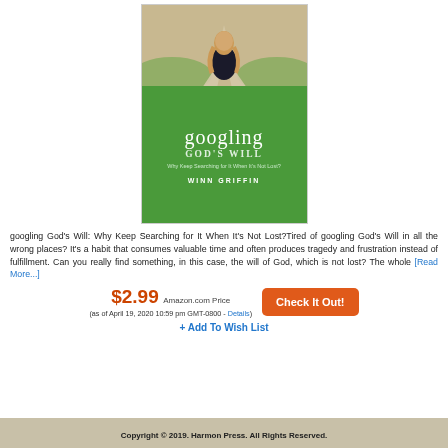[Figure (photo): Book cover of 'googling God's Will' by Winn Griffin. Green background with a woman viewed from behind at a crossroads path. Title in white text on green background.]
googling God's Will: Why Keep Searching for It When It's Not Lost?Tired of googling God's Will in all the wrong places? It's a habit that consumes valuable time and often produces tragedy and frustration instead of fulfillment. Can you really find something, in this case, the will of God, which is not lost? The whole [Read More...]
$2.99 Amazon.com Price
(as of April 19, 2020 10:59 pm GMT-0800 - Details)
+ Add To Wish List
Copyright © 2019. Harmon Press. All Rights Reserved.